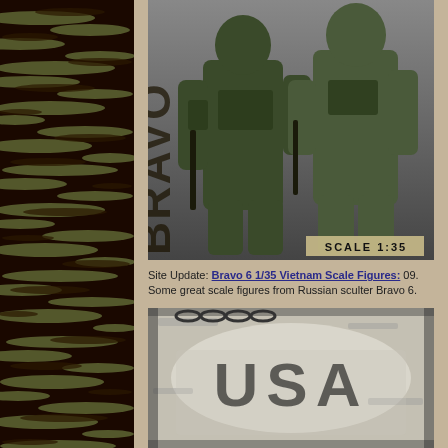[Figure (photo): Left side tiger stripe camouflage pattern background in dark brown and olive green colors]
[Figure (photo): Two 1:35 scale Vietnam War military figures in tiger stripe camouflage uniforms with gear and weapons, with BRAVO text vertically on left side and SCALE 1:35 label at bottom right]
Site Update: Bravo 6 1/35 Vietnam Scale Figures: 09. Some great scale figures from Russian sculter Bravo 6.
[Figure (photo): Black and white photograph showing USA stencil text on what appears to be a worn military surface]